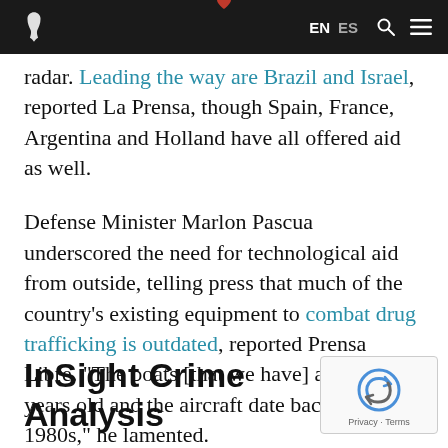EN ES [search] [menu]
radar. Leading the way are Brazil and Israel, reported La Prensa, though Spain, France, Argentina and Holland have all offered aid as well.
Defense Minister Marlon Pascua underscored the need for technological aid from outside, telling press that much of the country's existing equipment to combat drug trafficking is outdated, reported Prensa Libre. "The boats [that we have] are over 40 years old and the aircraft date back to the 1980s," he lamented.
InSight Crime Analysis